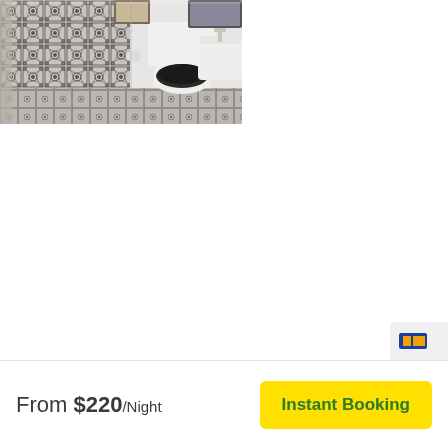[Figure (photo): Bathroom photo showing a toilet with black seat cover, decorative patterned tile wall and floor in black and white geometric design, white sink/basin visible on right, framed artwork in background, white walls.]
From $220/Night
Instant Booking